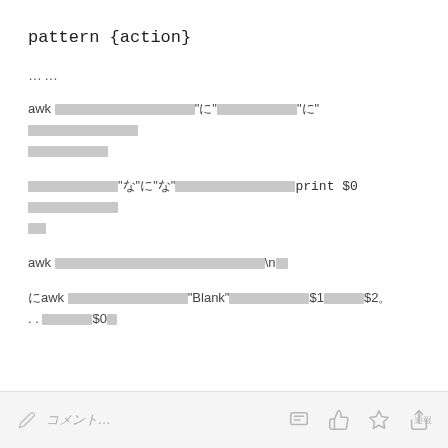pattern {action}
......
awk [CJK characters]"に"[CJK characters]"に"[CJK characters][CJK characters]
[CJK characters]"な"に"な"[CJK characters]print $0[CJK characters]
awk [CJK characters]\n[CJK characters]
にawk [CJK characters]"Blank"[CJK characters]$1[CJK characters]$2。. . [CJK characters]$0[CJK characters]
✎ コメント...  [icons]